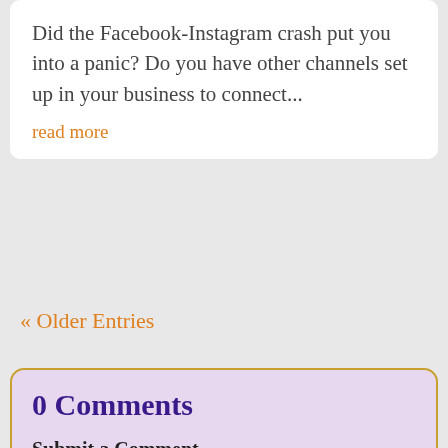Did the Facebook-Instagram crash put you into a panic? Do you have other channels set up in your business to connect...
read more
« Older Entries
0 Comments
Submit a Comment
Your email address will not be published. Required fields are marked *
Comment *